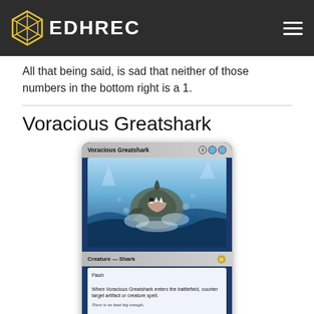EDHREC
All that being said, is sad that neither of those numbers in the bottom right is a 1.
Voracious Greatshark
[Figure (illustration): Magic: The Gathering card — Voracious Greatshark. Card name: Voracious Greatshark. Mana cost: 3UU. Type: Creature — Shark. Rules text: Flash. When Voracious Greatshark enters the battlefield, counter target artifact or creature spell. Flavor text: There is no boat big enough. Power/Toughness: 5/4. Set: IKO. Artist: Mathias Kollros. Number: 070/274. Rarity: R.]